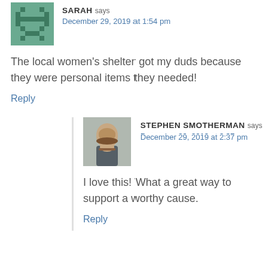[Figure (illustration): Pixelated avatar for Sarah, green/teal pixel art style]
SARAH says
December 29, 2019 at 1:54 pm
The local women's shelter got my duds because they were personal items they needed!
Reply
[Figure (photo): Profile photo of Stephen Smotherman, a man with a beard]
STEPHEN SMOTHERMAN says
December 29, 2019 at 2:37 pm
I love this! What a great way to support a worthy cause.
Reply